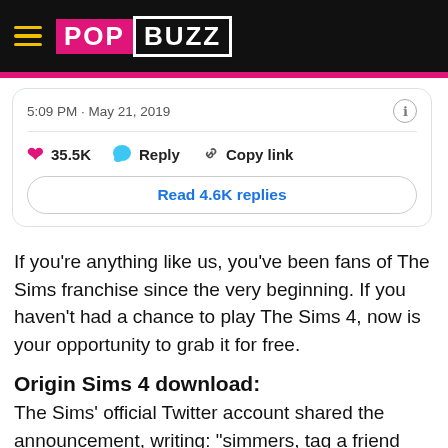POPBUZZ
[Figure (screenshot): Tweet interaction bar showing 5:09 PM · May 21, 2019, 35.5K likes, Reply, Copy link buttons, and a Read 4.6K replies button]
If you're anything like us, you've been fans of The Sims franchise since the very beginning. If you haven't had a chance to play The Sims 4, now is your opportunity to grab it for free.
Origin Sims 4 download:
The Sims' official Twitter account shared the announcement, writing: "simmers, tag a friend who should get The Sims 4 free" along with a link to the promotion